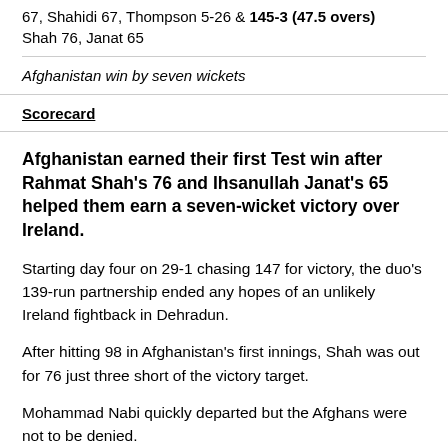67, Shahidi 67, Thompson 5-26 & 145-3 (47.5 overs) Shah 76, Janat 65
Afghanistan win by seven wickets
Scorecard
Afghanistan earned their first Test win after Rahmat Shah's 76 and Ihsanullah Janat's 65 helped them earn a seven-wicket victory over Ireland.
Starting day four on 29-1 chasing 147 for victory, the duo's 139-run partnership ended any hopes of an unlikely Ireland fightback in Dehradun.
After hitting 98 in Afghanistan's first innings, Shah was out for 76 just three short of the victory target.
Mohammad Nabi quickly departed but the Afghans were not to be denied.
'Historic day for Afghanistan'